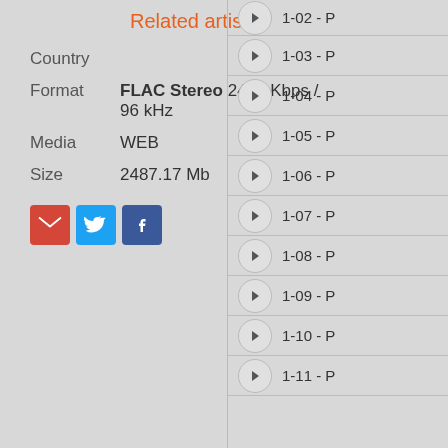Related artists
Country
Format  FLAC Stereo 2434 Kbps / 96 kHz
Media  WEB
Size  2487.17 Mb
[Figure (other): Share icons: Gmail (red M), Twitter (blue bird), Facebook (blue f)]
1-02 - P...
1-03 - P...
1-04 - P...
1-05 - P...
1-06 - P...
1-07 - P...
1-08 - P...
1-09 - P...
1-10 - P...
1-11 - P...